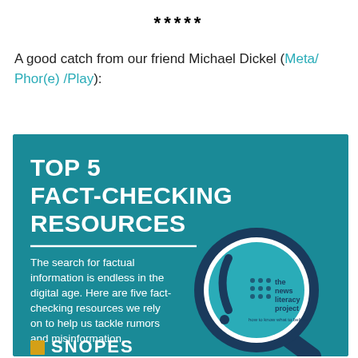*****
A good catch from our friend Michael Dickel (Meta/Phor(e) /Play):
[Figure (infographic): Infographic with teal background titled 'TOP 5 FACT-CHECKING RESOURCES'. Includes text: 'The search for factual information is endless in the digital age. Here are five fact-checking resources we rely on to help us tackle rumors and misinformation.' Features a magnifying glass graphic with 'the news literacy project' logo inside. At the bottom partially visible: 'SNOPES' with a yellow square icon. A white horizontal line divides the title from the body.]